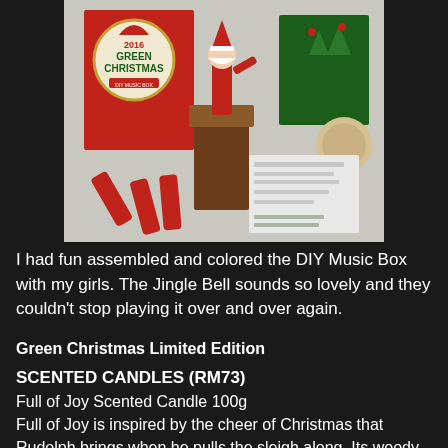[Figure (photo): Photo of a Green Christmas DIY Music Box 2016 set with a Santa Claus figure emerging from a chimney box, red cosmetic tubes, green Christmas decorated packaging boxes, and skincare product sheets arranged on a white surface.]
I had fun assembled and colored the DIY Music Box with my girls. The Jingle Bell sounds so lovely and they couldn't stop playing it over and over again.
Green Christmas Limited Edition
SCENTED CANDLES (RM73)
Full of Joy Scented Candle 100g
Full of Joy is inspired by the cheer of Christmas that Rudolph brings when he pulls the sleigh along. Its woody fruity scent creates a cheerful and warm atmosphere